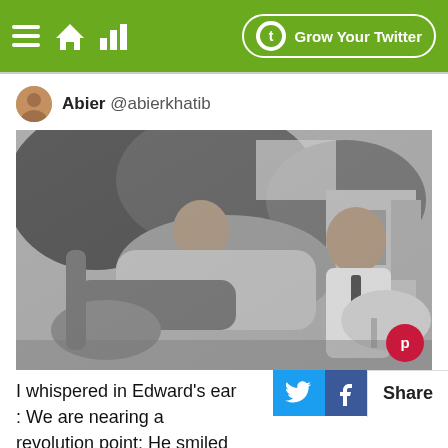Grow Your Twitter
Abier @abierkhatib
[Figure (photo): Black and white photograph of two men sitting outdoors in a garden setting with wicker chairs and a round table. Trees and a doorway are visible in the background.]
I whispered in Edward's ear : We are nearing a revolution point: He smiled at me and sai...